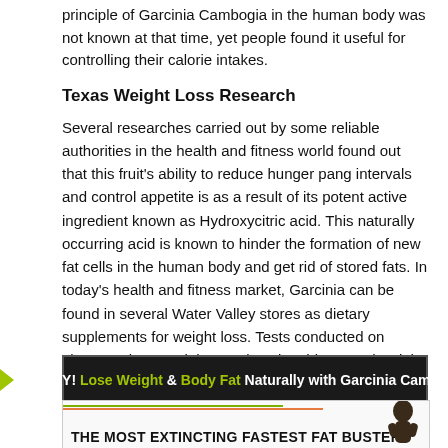principle of Garcinia Cambogia in the human body was not known at that time, yet people found it useful for controlling their calorie intakes.
Texas Weight Loss Research
Several researches carried out by some reliable authorities in the health and fitness world found out that this fruit's ability to reduce hunger pang intervals and control appetite is as a result of its potent active ingredient known as Hydroxycitric acid. This naturally occurring acid is known to hinder the formation of new fat cells in the human body and get rid of stored fats. In today's health and fitness market, Garcinia can be found in several Water Valley stores as dietary supplements for weight loss. Tests conducted on obese and overweight people using this natural weight loss supplement showed that this product is about the most effective weight loss supplement in the Texas market today.
[Figure (infographic): Dark banner with green chevron arrows on each side and text: HURRY! Lose Weight & Body Fat Naturally with Garcinia Cambogia]
[Figure (infographic): Light box with decorative lines and bold text: THE MOST EXTINCTING FASTEST FAT BUSTER, with a silhouette image on the right]